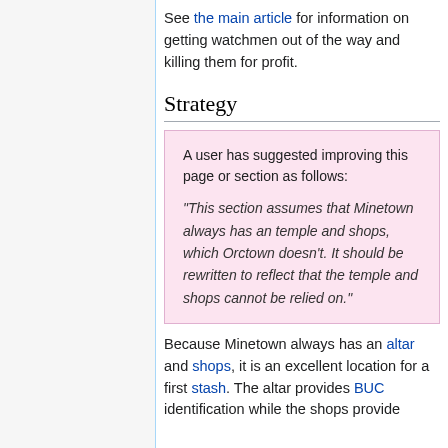See the main article for information on getting watchmen out of the way and killing them for profit.
Strategy
A user has suggested improving this page or section as follows:
"This section assumes that Minetown always has a temple and shops, which Orctown doesn't. It should be rewritten to reflect that the temple and shops cannot be relied on."
Because Minetown always has an altar and shops, it is an excellent location for a first stash. The altar provides BUC identification while the shops provide